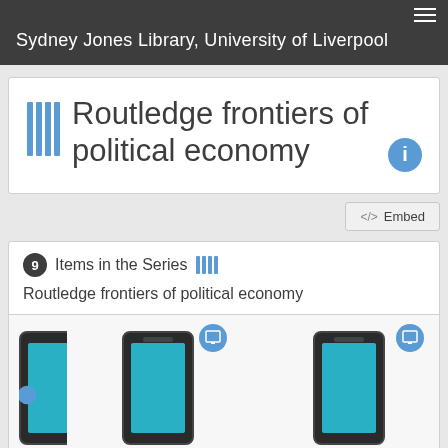Sydney Jones Library, University of Liverpool
Routledge frontiers of political economy
<> Embed
9 Items in the Series ||| Routledge frontiers of political economy
[Figure (screenshot): Three book/ebook item thumbnails shown as phone mockups with tablet overlay badges, partially visible at bottom of page]